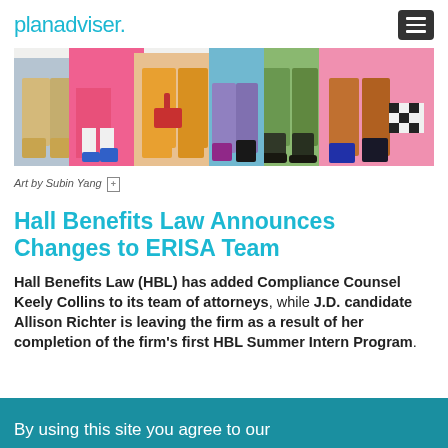planadviser.
[Figure (illustration): Colorful illustrated artwork showing multiple people walking, cropped at the torso/legs level, with vibrant colors including pink, blue, orange, green, and yellow. Art style is flat illustration.]
Art by Subin Yang [+]
Hall Benefits Law Announces Changes to ERISA Team
Hall Benefits Law (HBL) has added Compliance Counsel Keely Collins to its team of attorneys, while J.D. candidate Allison Richter is leaving the firm as a result of her completion of the firm's first HBL Summer Intern Program.
By using this site you agree to our